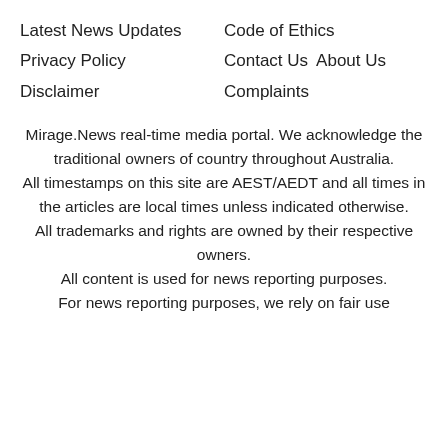Latest News Updates
Code of Ethics
Privacy Policy
Contact Us   About Us
Disclaimer
Complaints
Mirage.News real-time media portal. We acknowledge the traditional owners of country throughout Australia.
All timestamps on this site are AEST/AEDT and all times in the articles are local times unless indicated otherwise.
All trademarks and rights are owned by their respective owners.
All content is used for news reporting purposes.
For news reporting purposes, we rely on fair use